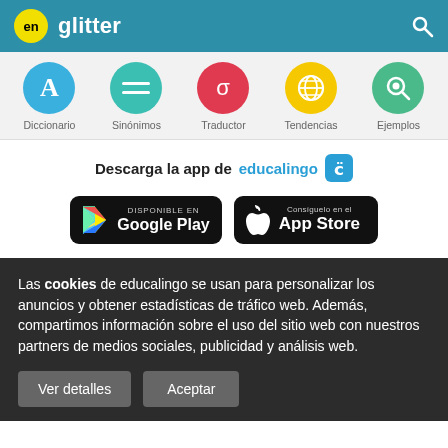en glitter
[Figure (infographic): Navigation icons row: Diccionario (blue circle with A), Sinónimos (teal circle with equals), Traductor (red circle with sigma), Tendencias (yellow circle with globe), Ejemplos (green circle with magnifier)]
Descarga la app de educalingo
[Figure (infographic): Google Play and App Store download buttons on black background]
Las cookies de educalingo se usan para personalizar los anuncios y obtener estadísticas de tráfico web. Además, compartimos información sobre el uso del sitio web con nuestros partners de medios sociales, publicidad y análisis web.
Ver detalles | Aceptar